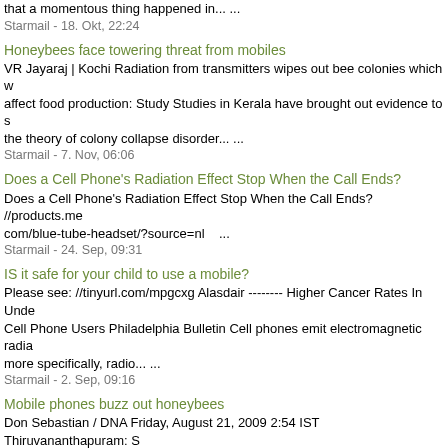that a momentous thing happened in... ...
Starmail - 18. Okt, 22:24
Honeybees face towering threat from mobiles
VR Jayaraj | Kochi Radiation from transmitters wipes out bee colonies which w affect food production: Study Studies in Kerala have brought out evidence to s the theory of colony collapse disorder... ...
Starmail - 7. Nov, 06:06
Does a Cell Phone's Radiation Effect Stop When the Call Ends?
Does a Cell Phone's Radiation Effect Stop When the Call Ends? //products.me com/blue-tube-headset/?source=nl   ...
Starmail - 24. Sep, 09:31
IS it safe for your child to use a mobile?
Please see: //tinyurl.com/mpgcxg Alasdair -------- Higher Cancer Rates In Unde Cell Phone Users Philadelphia Bulletin Cell phones emit electromagnetic radia more specifically, radio... ...
Starmail - 2. Sep, 09:16
Mobile phones buzz out honeybees
Don Sebastian / DNA Friday, August 21, 2009 2:54 IST Thiruvananthapuram: S nothings murmured into a mobile phone spell doom for honeybees, says a stu booming communication industry is not... ...
Starmail - 25. Aug, 09:26
Your Cell Phone and Brain Tumors
Your Cell Phone and Brain Tumors //articles.mercola.com/sites/articles/a rchive/2009/08/06/Your-Cell-Phone-and-Brain-Tumors.aspx -------- Owning a c
Starmail - 6. Aug, 22:56